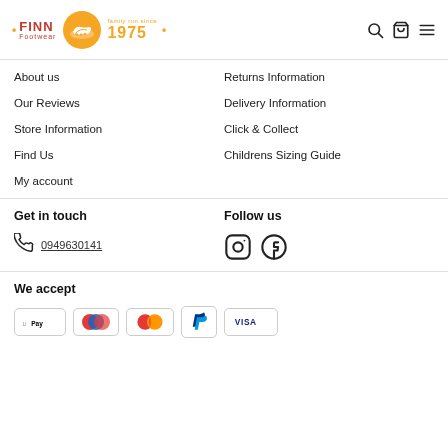[Figure (logo): Finn Footwear logo with orange circle containing a shoe, text 'FINN Footwear family run since 1975' with orange dots]
About us
Returns Information
Our Reviews
Delivery Information
Store Information
Click & Collect
Find Us
Childrens Sizing Guide
My account
Get in touch
Follow us
0949630141
[Figure (illustration): Phone icon]
[Figure (illustration): Instagram and Facebook social media icons]
We accept
[Figure (illustration): Payment method icons: Apple Pay, Google Pay (colored circles), Mastercard, PayPal, Visa]